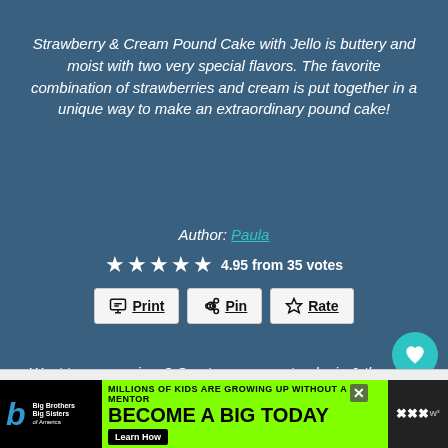Strawberry & Cream Pound Cake with Jello is buttery and moist with two very special flavors. The favorite combination of strawberries and cream is put together in a unique way to make an extraordinary pound cake!
Author: Paula
4.95 from 35 votes
Print | Pin | Rate
Want to save recipes? Create an account or login & then you can use the “Save Recipe” button when viewing a recipe to save it to your Recipe Box. You can access your saved recipes on any device and generate a shopping list for recipes in your collections.
[Figure (infographic): Advertisement banner for Big Brothers Big Sisters: MILLIONS OF KIDS ARE GROWING UP WITHOUT A MENTOR. BECOME A BIG TODAY with Learn How button.]